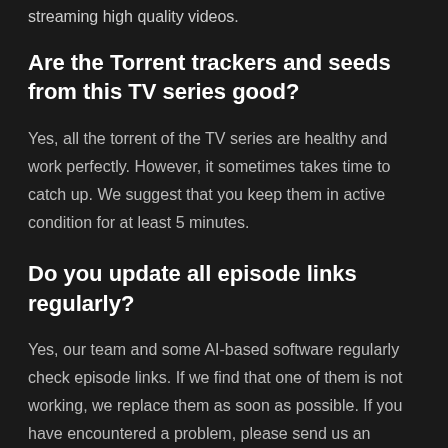streaming high quality videos.
Are the Torrent trackers and seeds from this TV series good?
Yes, all the torrent of the TV series are healthy and work perfectly. However, it sometimes takes time to catch up. We suggest that you keep them in active condition for at least 5 minutes.
Do you update all episode links regularly?
Yes, our team and some AI-based software regularly check episode links. If we find that one of them is not working, we replace them as soon as possible. If you have encountered a problem, please send us an